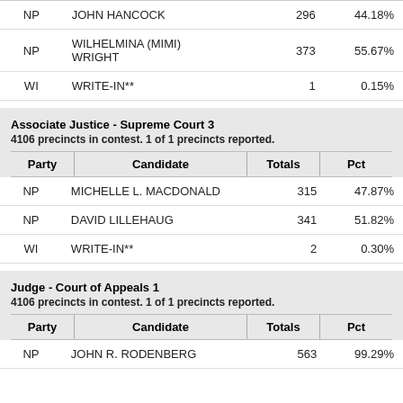| Party | Candidate | Totals | Pct |
| --- | --- | --- | --- |
| NP | JOHN HANCOCK | 296 | 44.18% |
| NP | WILHELMINA (MIMI) WRIGHT | 373 | 55.67% |
| WI | WRITE-IN** | 1 | 0.15% |
Associate Justice - Supreme Court 3
4106 precincts in contest. 1 of 1 precincts reported.
| Party | Candidate | Totals | Pct |
| --- | --- | --- | --- |
| NP | MICHELLE L. MACDONALD | 315 | 47.87% |
| NP | DAVID LILLEHAUG | 341 | 51.82% |
| WI | WRITE-IN** | 2 | 0.30% |
Judge - Court of Appeals 1
4106 precincts in contest. 1 of 1 precincts reported.
| Party | Candidate | Totals | Pct |
| --- | --- | --- | --- |
| NP | JOHN R. RODENBERG | 563 | 99.29% |